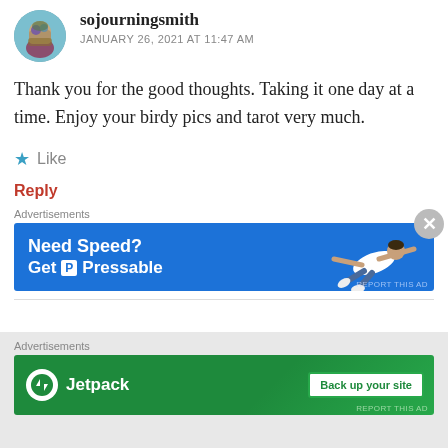[Figure (photo): Circular avatar photo of user sojourningsmith]
sojourningsmith
JANUARY 26, 2021 AT 11:47 AM
Thank you for the good thoughts. Taking it one day at a time. Enjoy your birdy pics and tarot very much.
★ Like
Reply
Advertisements
[Figure (infographic): Blue advertisement banner: Need Speed? Get Pressable, with a person flying sideways]
Advertisements
[Figure (infographic): Green advertisement banner for Jetpack: Back up your site]